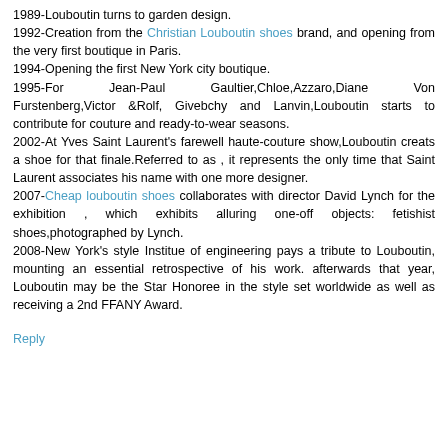1989-Louboutin turns to garden design.
1992-Creation from the Christian Louboutin shoes brand, and opening from the very first boutique in Paris.
1994-Opening the first New York city boutique.
1995-For Jean-Paul Gaultier,Chloe,Azzaro,Diane Von Furstenberg,Victor &Rolf, Givebchy and Lanvin,Louboutin starts to contribute for couture and ready-to-wear seasons.
2002-At Yves Saint Laurent's farewell haute-couture show,Louboutin creats a shoe for that finale.Referred to as , it represents the only time that Saint Laurent associates his name with one more designer.
2007-Cheap louboutin shoes collaborates with director David Lynch for the exhibition , which exhibits alluring one-off objects: fetishist shoes,photographed by Lynch.
2008-New York's style Institue of engineering pays a tribute to Louboutin, mounting an essential retrospective of his work. afterwards that year, Louboutin may be the Star Honoree in the style set worldwide as well as receiving a 2nd FFANY Award.
Reply